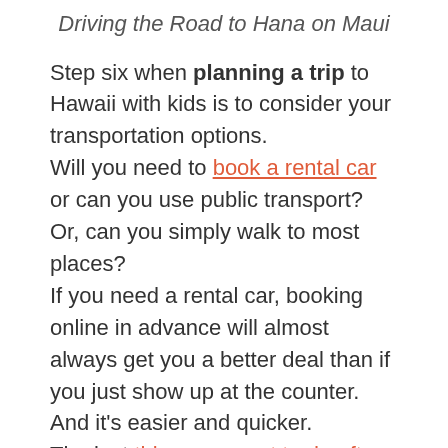Driving the Road to Hana on Maui
Step six when planning a trip to Hawaii with kids is to consider your transportation options.
Will you need to book a rental car or can you use public transport? Or, can you simply walk to most places?
If you need a rental car, booking online in advance will almost always get you a better deal than if you just show up at the counter. And it's easier and quicker.
The last thing you want to do after a long flight to Hawaii is deal with rental car companies at the airport and negotiate a deal.